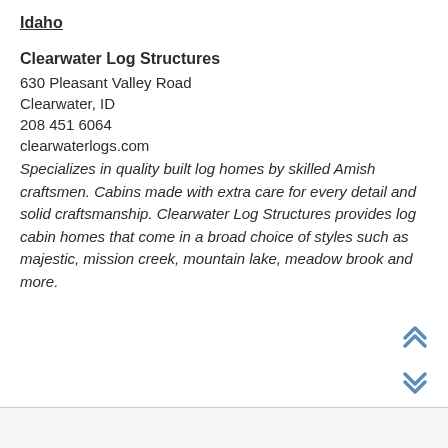Idaho
Clearwater Log Structures
630 Pleasant Valley Road
Clearwater, ID
208 451 6064
clearwaterlogs.com
Specializes in quality built log homes by skilled Amish craftsmen. Cabins made with extra care for every detail and solid craftsmanship. Clearwater Log Structures provides log cabin homes that come in a broad choice of styles such as majestic, mission creek, mountain lake, meadow brook and more.